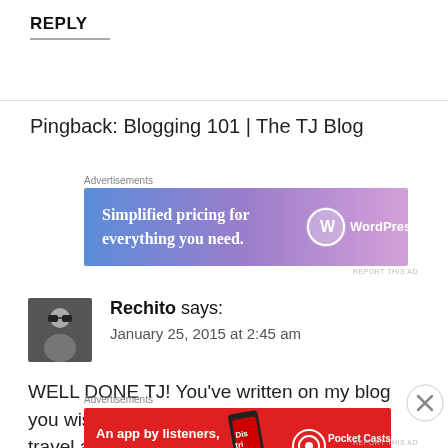REPLY
Pingback: Blogging 101 | The TJ Blog
Advertisements
[Figure (other): WordPress.com advertisement banner: 'Simplified pricing for everything you need.' with WordPress.com logo on blue-purple gradient background.]
REPORT THIS AD
Rechito says:
January 25, 2015 at 2:45 am
WELL DONE TJ! You've written on my blog you wish you could experience some of my travel adventurers
Advertisements
[Figure (other): Pocket Casts advertisement banner: 'An app by listeners, for listeners.' on red background with phone image.]
REPORT THIS AD